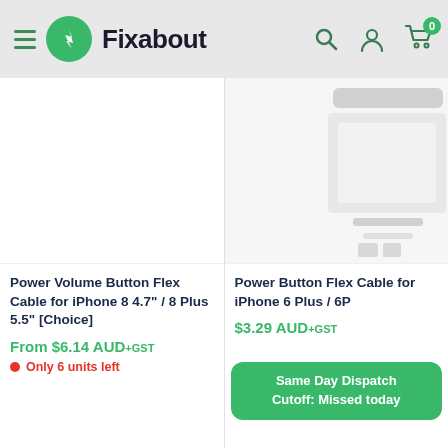Fixabout — navigation header with hamburger menu, logo, search, account, and cart (0 items)
[Figure (screenshot): Left product card: Power Volume Button Flex Cable for iPhone 8 4.7"/8 Plus 5.5" [Choice], white product image area]
Power Volume Button Flex Cable for iPhone 8 4.7" / 8 Plus 5.5" [Choice]
From $6.14 AUD+GST
Only 6 units left
[Figure (screenshot): Right product card (partially visible): Power Button Flex Cable for iPhone 6 Plus / 6P, with product image]
Power Button Flex C... iPhone 6 Plus / 6P...
$3.29 AUD+GST
Same Day Dispatch Cutoff: Missed today